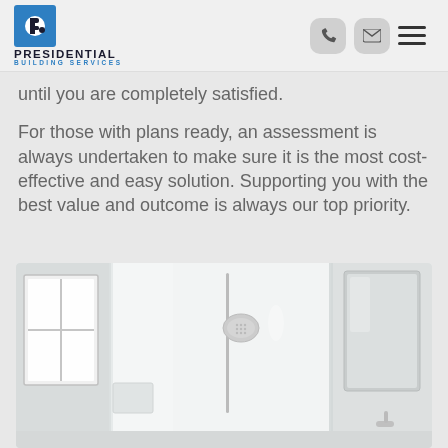PRESIDENTIAL BUILDING SERVICES
until you are completely satisfied.
For those with plans ready, an assessment is always undertaken to make sure it is the most cost-effective and easy solution. Supporting you with the best value and outcome is always our top priority.
[Figure (photo): Interior photo of a modern white bathroom shower area with glass panels, a wall-mounted shower head on a rail, a window on the left, and a mirror on the right. Bright, clean white walls and fixtures.]